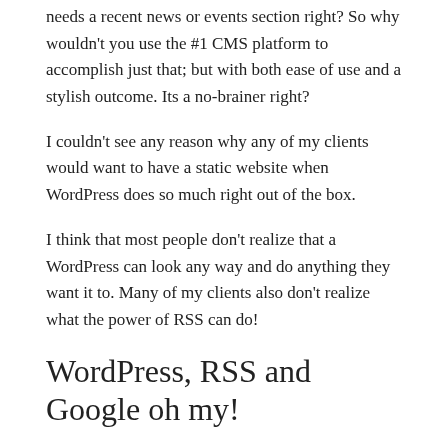needs a recent news or events section right? So why wouldn't you use the #1 CMS platform to accomplish just that; but with both ease of use and a stylish outcome. Its a no-brainer right?
I couldn't see any reason why any of my clients would want to have a static website when WordPress does so much right out of the box.
I think that most people don't realize that a WordPress can look any way and do anything they want it to. Many of my clients also don't realize what the power of RSS can do!
WordPress, RSS and Google oh my!
They do play VERY well together…
They also conducted their first ever user and developer survey, which got over 18,000 responses from all over the world:
They found a few interesting tidbits from the…